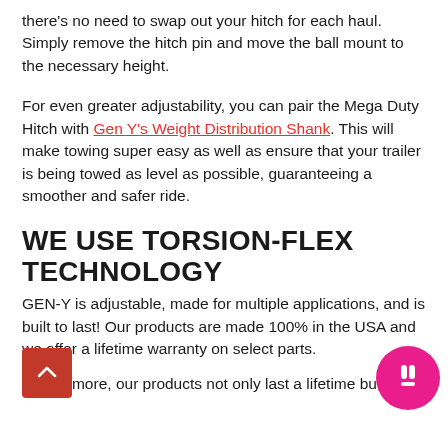there's no need to swap out your hitch for each haul. Simply remove the hitch pin and move the ball mount to the necessary height.
For even greater adjustability, you can pair the Mega Duty Hitch with Gen Y's Weight Distribution Shank. This will make towing super easy as well as ensure that your trailer is being towed as level as possible, guaranteeing a smoother and safer ride.
WE USE TORSION-FLEX TECHNOLOGY
GEN-Y is adjustable, made for multiple applications, and is built to last! Our products are made 100% in the USA and we offer a lifetime warranty on select parts.
Furthermore, our products not only last a lifetime but help